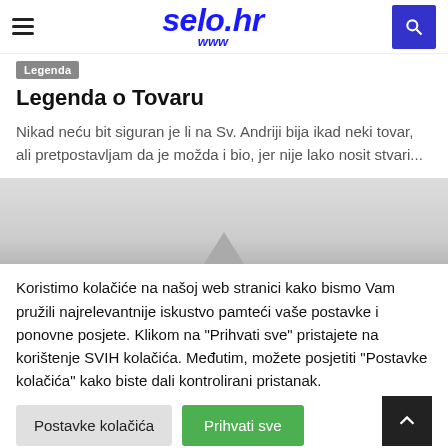selo.hr www
Legenda
Legenda o Tovaru
Nikad neću bit siguran je li na Sv. Andriji bija ikad neki tovar, ali pretpostavljam da je možda i bio, jer nije lako nosit stvari...
[Figure (photo): Misty landscape photograph, appears to show a faint triangular shape resembling a mountain or tent in grey fog]
Koristimo kolačiće na našoj web stranici kako bismo Vam pružili najrelevantnije iskustvo pamteći vaše postavke i ponovne posjete. Klikom na "Prihvati sve" pristajete na korištenje SVIH kolačića. Međutim, možete posjetiti "Postavke kolačića" kako biste dali kontrolirani pristanak.
Postavke kolačića
Prihvati sve